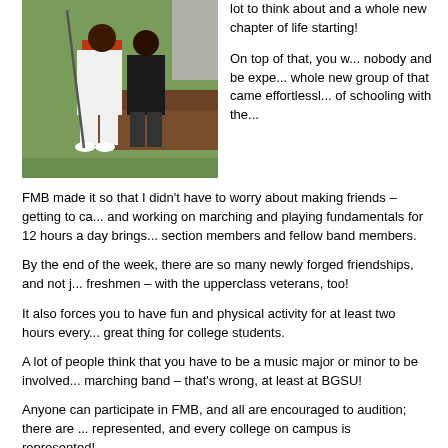[Figure (photo): Two people sitting outdoors on a grassy area, one wearing white pants and white shoes, holding a cane, with another person beside them.]
lot to think about and a whole new chapter of life starting!

On top of that, you w... nobody and be expe... whole new group of ... that came effortlessl... of schooling with the...
FMB made it so that I didn't have to worry about making friends – getting to ca... and working on marching and playing fundamentals for 12 hours a day brings... section members and fellow band members.
By the end of the week, there are so many newly forged friendships, and not j... freshmen – with the upperclass veterans, too!
It also forces you to have fun and physical activity for at least two hours every... great thing for college students.
A lot of people think that you have to be a music major or minor to be involved... marching band – that's wrong, at least at BGSU!
Anyone can participate in FMB, and all are encouraged to audition; there are ... represented, and every college on campus is represented!